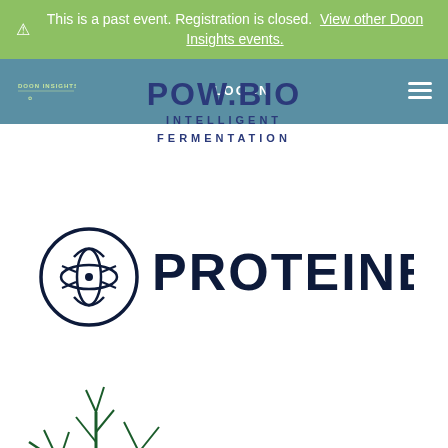⚠ This is a past event. Registration is closed. View other Doon Insights events.
DOON INSIGHTS | LOG IN | POW.BIO | INTELLIGENT FERMENTATION
[Figure (logo): Proteinea logo — circular insect/molecule icon with PROTEINEA wordmark in dark navy]
[Figure (logo): Regrow logo — green tree/plant illustration with 'regrow' wordmark in dark green serif italic]